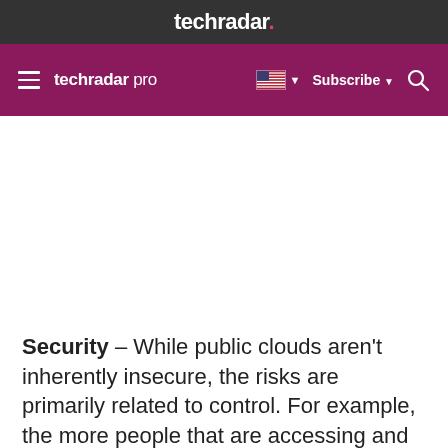techradar.
techradar pro | Subscribe | Search
Security – While public clouds aren't inherently insecure, the risks are primarily related to control. For example, the more people that are accessing and